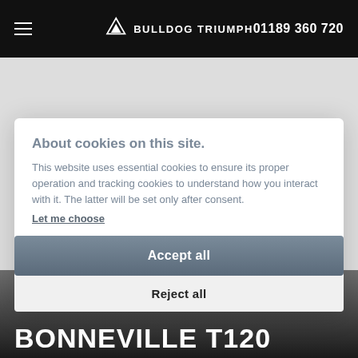BULLDOG TRIUMPH  01189 360 720
About cookies on this site.
This website uses essential cookies to ensure its proper operation and tracking cookies to understand how you interact with it. The latter will be set only after consent.
Let me choose
Accept all
Reject all
BONNEVILLE T120